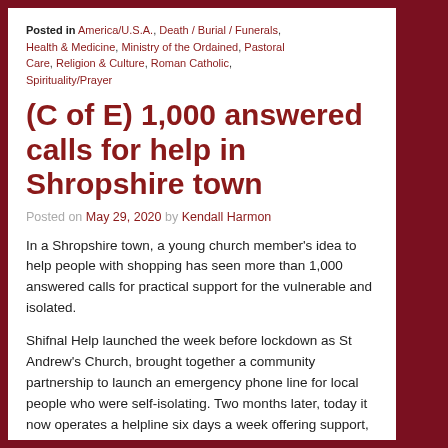Posted in America/U.S.A., Death / Burial / Funerals, Health & Medicine, Ministry of the Ordained, Pastoral Care, Religion & Culture, Roman Catholic, Spirituality/Prayer
(C of E) 1,000 answered calls for help in Shropshire town
Posted on May 29, 2020 by Kendall Harmon
In a Shropshire town, a young church member's idea to help people with shopping has seen more than 1,000 answered calls for practical support for the vulnerable and isolated.
Shifnal Help launched the week before lockdown as St Andrew's Church, brought together a community partnership to launch an emergency phone line for local people who were self-isolating. Two months later, today it now operates a helpline six days a week offering support, medication collection and delivery, shopping and other key tasks – with the local pub becoming a food donations hub.
Shifnal Vicar, The Revd Preb Chris Thorpe